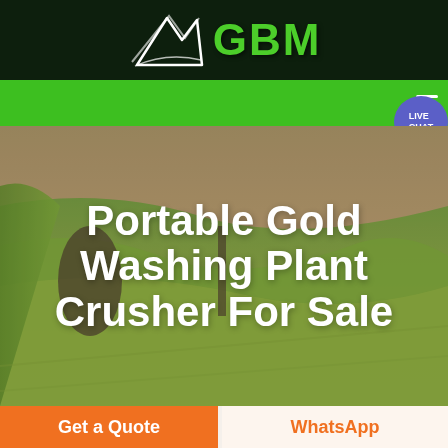GBM
[Figure (logo): GBM logo with white arrow/mountain shape and green GBM text on dark green background]
[Figure (screenshot): Green navigation bar with hamburger menu icon and LIVE CHAT bubble in purple]
Portable Gold Washing Plant Crusher For Sale
Get a Quote
WhatsApp